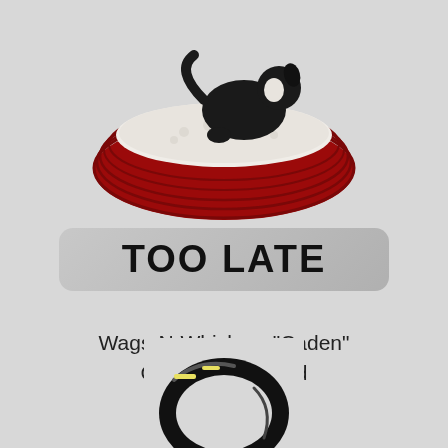[Figure (photo): A black and white dog or cat curled up sleeping in a round red corduroy pet bed with white sherpa interior lining, photographed on a light gray background.]
TOO LATE
Wags-N-Whiskers "Caden" Corduroy Pet Bed
[Figure (photo): A black oval/ring shaped light or device with yellow LED strips visible, photographed on a light gray background. Only the top portion is visible as it is cut off at the bottom of the page.]